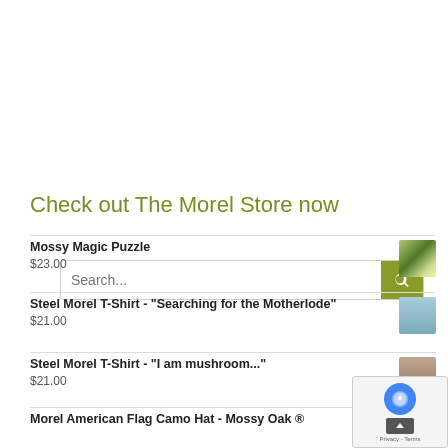Search...
Check out The Morel Store now
Mossy Magic Puzzle
$23.00
Steel Morel T-Shirt - "Searching for the Motherlode"
$21.00
Steel Morel T-Shirt - "I am mushroom..."
$21.00
Morel American Flag Camo Hat - Mossy Oak ®